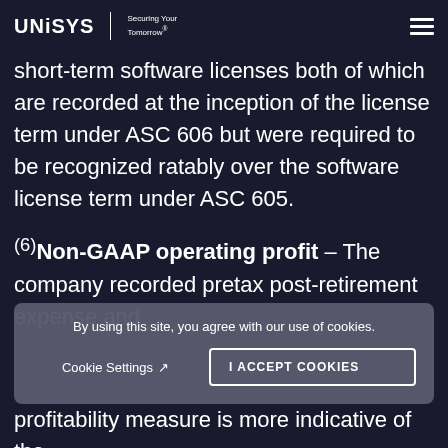between ASC 605 and ASC 606, principally
[Figure (logo): Unisys logo with text 'Securing Your Tomorrow' and hamburger menu icon]
short-term software licenses both of which are recorded at the inception of the license term under ASC 606 but were required to be recognized ratably over the software license term under ASC 605.
(6) Non-GAAP operating profit – The company recorded pretax post-retirement expense and
By using this site, you agree with our use of cookies.
Cookie Settings ↗
I ACCEPT COOKIES
profitability measure is more indicative of the